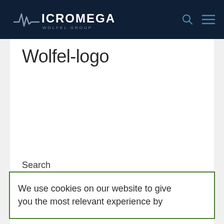Micromega Wölfel Group
Wolfel-logo
Search
We use cookies on our website to give you the most relevant experience by
Recent Posts